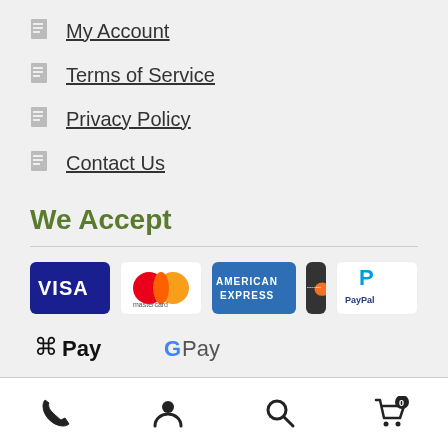My Account
Terms of Service
Privacy Policy
Contact Us
We Accept
[Figure (logo): Payment method logos: Visa, Mastercard, American Express, Discover, PayPal, Apple Pay, Google Pay]
Phone, Account, Search, Cart (0) navigation icons